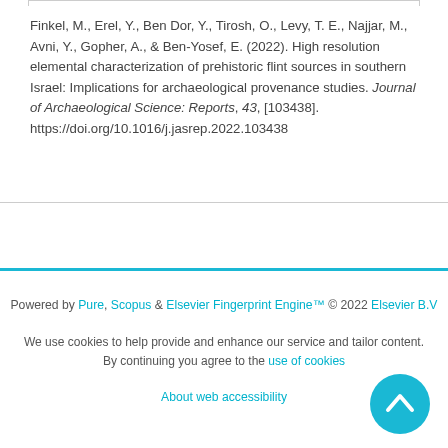Finkel, M., Erel, Y., Ben Dor, Y., Tirosh, O., Levy, T. E., Najjar, M., Avni, Y., Gopher, A., & Ben-Yosef, E. (2022). High resolution elemental characterization of prehistoric flint sources in southern Israel: Implications for archaeological provenance studies. Journal of Archaeological Science: Reports, 43, [103438]. https://doi.org/10.1016/j.jasrep.2022.103438
Powered by Pure, Scopus & Elsevier Fingerprint Engine™ © 2022 Elsevier B.V
We use cookies to help provide and enhance our service and tailor content. By continuing you agree to the use of cookies
About web accessibility